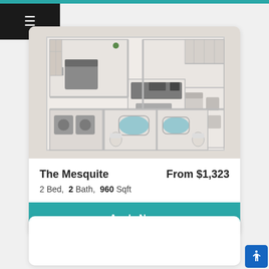[Figure (illustration): 3D isometric floor plan rendering of The Mesquite apartment unit showing 2 bedrooms, 2 bathrooms, living area, and kitchen layout with furniture]
The Mesquite
From $1,323
2 Bed,  2 Bath,  960 Sqft
Apply Now